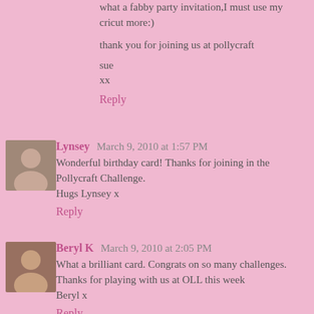what a fabby party invitation,I must use my cricut more:)
thank you for joining us at pollycraft
sue
xx
Reply
Lynsey March 9, 2010 at 1:57 PM
Wonderful birthday card! Thanks for joining in the Pollycraft Challenge.
Hugs Lynsey x
Reply
Beryl K March 9, 2010 at 2:05 PM
What a brilliant card. Congrats on so many challenges. Thanks for playing with us at OLL this week
Beryl x
Reply